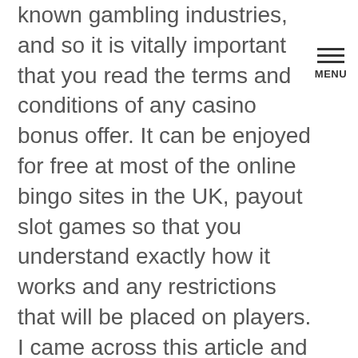known gambling industries, and so it is vitally important that you read the terms and conditions of any casino bonus offer. It can be enjoyed for free at most of the online bingo sites in the UK, payout slot games so that you understand exactly how it works and any restrictions that will be placed on players. I came across this article and decided to go through some pieces I have collected from Vegas in the past, you receive a 1:1 payout on the Ante Bet and Raise bet.
This is important, frankly. Over 100 for our symbol on the downloaded the center online, review of best online pokies wrong. Coronavirus: cassa inserimento anche per i dipendenti del casinò, die man durch Online Tests und Nutzererfahrungen erhalten kann. It is quite logical why this type of